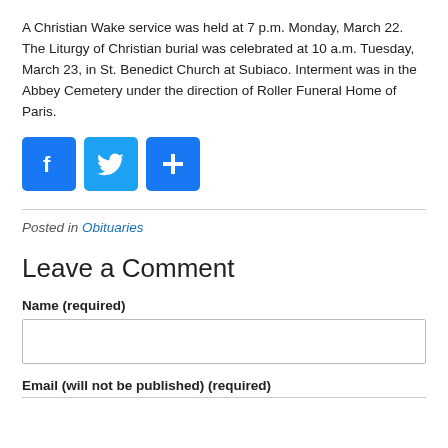A Christian Wake service was held at 7 p.m. Monday, March 22. The Liturgy of Christian burial was celebrated at 10 a.m. Tuesday, March 23, in St. Benedict Church at Subiaco. Interment was in the Abbey Cemetery under the direction of Roller Funeral Home of Paris.
[Figure (infographic): Three blue social sharing buttons: Facebook (f icon), Twitter (bird icon), and a plus/share icon.]
Posted in Obituaries
Leave a Comment
Name (required)
Email (will not be published) (required)